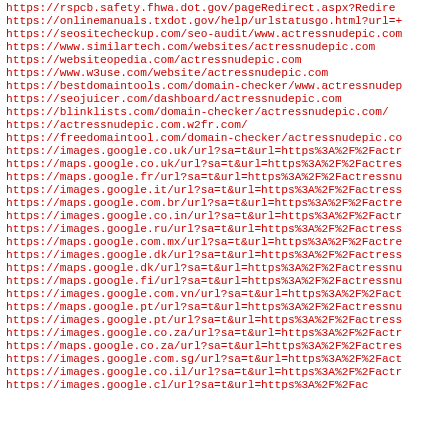https://rspcb.safety.fhwa.dot.gov/pageRedirect.aspx?Redire
https://onlinemanuals.txdot.gov/help/urlstatusgo.html?url=+
https://seositecheckup.com/seo-audit/www.actressnudepic.com
https://www.similartech.com/websites/actressnudepic.com
https://websiteopedia.com/actressnudepic.com
https://www.w3use.com/website/actressnudepic.com
https://bestdomaintools.com/domain-checker/www.actressnudep
https://seojuicer.com/dashboard/actressnudepic.com
https://blinklists.com/domain-checker/actressnudepic.com/
https://actressnudepic.com.w2fr.com/
https://freedomaintool.com/domain-checker/actressnudepic.co
https://images.google.co.uk/url?sa=t&url=https%3A%2F%2Factr
https://maps.google.co.uk/url?sa=t&url=https%3A%2F%2Factres
https://maps.google.fr/url?sa=t&url=https%3A%2F%2Factressnu
https://images.google.it/url?sa=t&url=https%3A%2F%2Factress
https://maps.google.com.br/url?sa=t&url=https%3A%2F%2Factre
https://images.google.co.in/url?sa=t&url=https%3A%2F%2Factr
https://images.google.ru/url?sa=t&url=https%3A%2F%2Factress
https://maps.google.com.mx/url?sa=t&url=https%3A%2F%2Factre
https://images.google.dk/url?sa=t&url=https%3A%2F%2Factress
https://maps.google.dk/url?sa=t&url=https%3A%2F%2Factressnu
https://maps.google.fi/url?sa=t&url=https%3A%2F%2Factressnu
https://images.google.com.vn/url?sa=t&url=https%3A%2F%2Fact
https://maps.google.pt/url?sa=t&url=https%3A%2F%2Factressnu
https://images.google.pt/url?sa=t&url=https%3A%2F%2Factress
https://images.google.co.za/url?sa=t&url=https%3A%2F%2Factr
https://maps.google.co.za/url?sa=t&url=https%3A%2F%2Factres
https://images.google.com.sg/url?sa=t&url=https%3A%2F%2Fact
https://images.google.co.il/url?sa=t&url=https%3A%2F%2Factr
https://images.google.cl/url?sa=t&url=https%3A%2F%2Fac